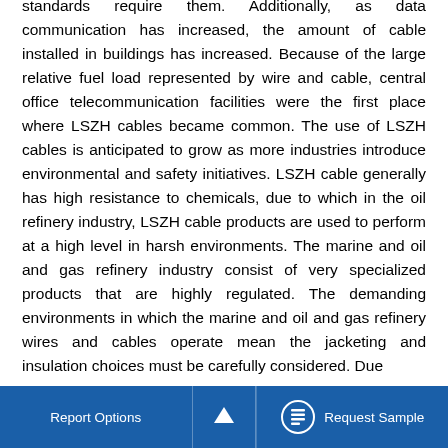standards require them. Additionally, as data communication has increased, the amount of cable installed in buildings has increased. Because of the large relative fuel load represented by wire and cable, central office telecommunication facilities were the first place where LSZH cables became common. The use of LSZH cables is anticipated to grow as more industries introduce environmental and safety initiatives. LSZH cable generally has high resistance to chemicals, due to which in the oil refinery industry, LSZH cable products are used to perform at a high level in harsh environments. The marine and oil and gas refinery industry consist of very specialized products that are highly regulated. The demanding environments in which the marine and oil and gas refinery wires and cables operate mean the jacketing and insulation choices must be carefully considered. Due
Report Options | ^ | Request Sample